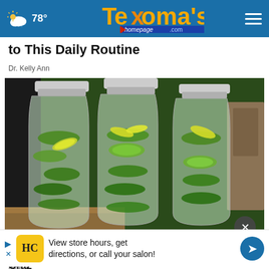78° Texoma's homepage.com
to This Daily Routine
Dr.  Kelly Ann
[Figure (photo): Three clear plastic water bottles filled with infused water containing cucumber slices, lemon slices, and green mint/herb leaves, sitting on a kitchen counter]
Drin This Before Bed and Drop Weight Like Craz
View store hours, get directions, or call your salon!
Health